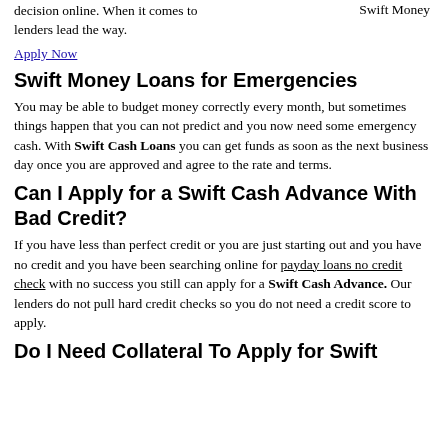decision online. When it comes to lenders lead the way.
Swift Money
Apply Now
Swift Money Loans for Emergencies
You may be able to budget money correctly every month, but sometimes things happen that you can not predict and you now need some emergency cash. With Swift Cash Loans you can get funds as soon as the next business day once you are approved and agree to the rate and terms.
Can I Apply for a Swift Cash Advance With Bad Credit?
If you have less than perfect credit or you are just starting out and you have no credit and you have been searching online for payday loans no credit check with no success you still can apply for a Swift Cash Advance. Our lenders do not pull hard credit checks so you do not need a credit score to apply.
Do I Need Collateral To Apply for Swift